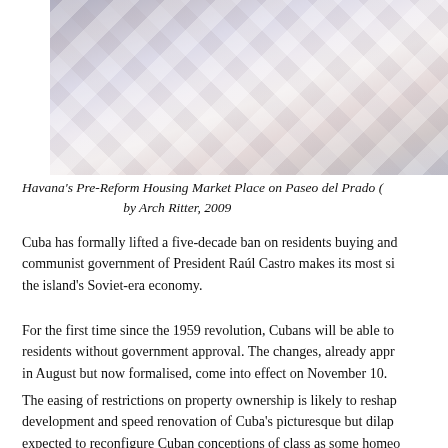[Figure (photo): Partial view of a decorative tiled or patterned floor/plaza surface in Havana, with diagonal striped patterns in grey and white tones.]
Havana's Pre-Reform Housing Market Place on Paseo del Prado (by Arch Ritter, 2009
Cuba has formally lifted a five-decade ban on residents buying and communist government of President Raúl Castro makes its most si the island's Soviet-era economy.
For the first time since the 1959 revolution, Cubans will be able to residents without government approval. The changes, already appr in August but now formalised, come into effect on November 10.
The easing of restrictions on property ownership is likely to reshap development and speed renovation of Cuba's picturesque but dilap expected to reconfigure Cuban conceptions of class as some homeo and areas of Havana are gentrified.